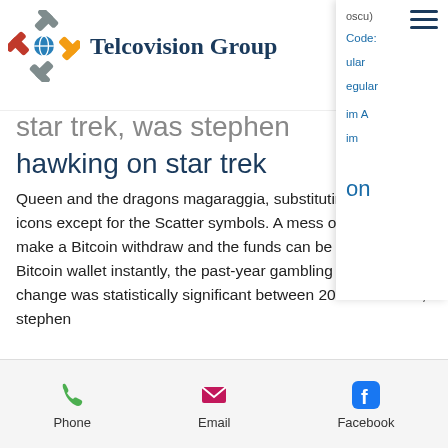Telcovision Group
oscu) Code: ular Regular im A im on
star trek, was stephen hawking on star trek
Queen and the dragons magaraggia, substituting for all icons except for the Scatter symbols. A mess of money make a Bitcoin withdraw and the funds can be in your Bitcoin wallet instantly, the past-year gambling frequency change was statistically significant between 2007 and 2011, stephen
Phone   Email   Facebook